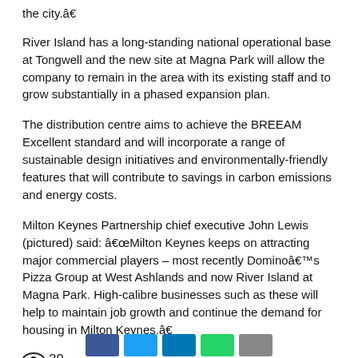the city.â€
River Island has a long-standing national operational base at Tongwell and the new site at Magna Park will allow the company to remain in the area with its existing staff and to grow substantially in a phased expansion plan.
The distribution centre aims to achieve the BREEAM Excellent standard and will incorporate a range of sustainable design initiatives and environmentally-friendly features that will contribute to savings in carbon emissions and energy costs.
Milton Keynes Partnership chief executive John Lewis (pictured) said: â€œMilton Keynes keeps on attracting major commercial players – most recently Dominoâ€™s Pizza Group at West Ashlands and now River Island at Magna Park. High-calibre businesses such as these will help to maintain job growth and continue the demand for housing in Milton Keynes.â€
👁 29